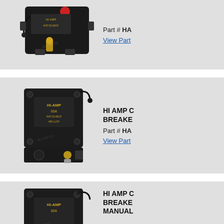[Figure (photo): HI AMP circuit breaker photo, top view, black rectangular device with red button and gold terminal stud]
Part # HA
View Part
[Figure (photo): HI AMP circuit breaker photo, front view, black square device labeled HI-AMP 80A with wire and terminals]
HI AMP C BREAKE
Part # HA
View Part
[Figure (photo): HI AMP circuit breaker photo, similar to above with red button, manual reset type]
HI AMP C BREAKE MANUAL